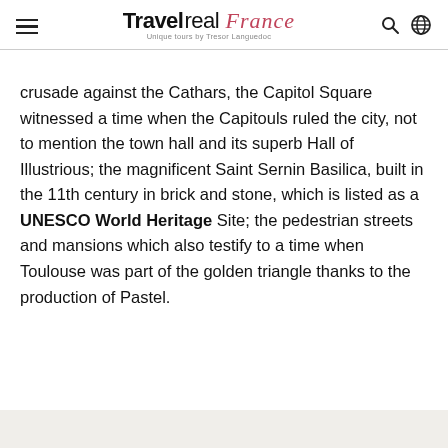TravelReal France — Unique tours by Tresor Languedoc
crusade against the Cathars, the Capitol Square witnessed a time when the Capitouls ruled the city, not to mention the town hall and its superb Hall of Illustrious; the magnificent Saint Sernin Basilica, built in the 11th century in brick and stone, which is listed as a UNESCO World Heritage Site; the pedestrian streets and mansions which also testify to a time when Toulouse was part of the golden triangle thanks to the production of Pastel.